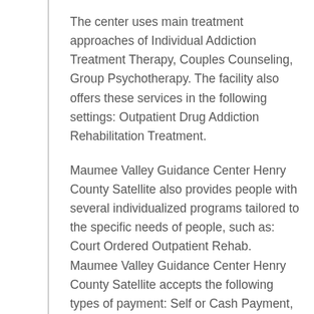The center uses main treatment approaches of Individual Addiction Treatment Therapy, Couples Counseling, Group Psychotherapy. The facility also offers these services in the following settings: Outpatient Drug Addiction Rehabilitation Treatment.
Maumee Valley Guidance Center Henry County Satellite also provides people with several individualized programs tailored to the specific needs of people, such as: Court Ordered Outpatient Rehab. Maumee Valley Guidance Center Henry County Satellite accepts the following types of payment: Self or Cash Payment, Insurance Through Medicaid, Medicare Coverage.